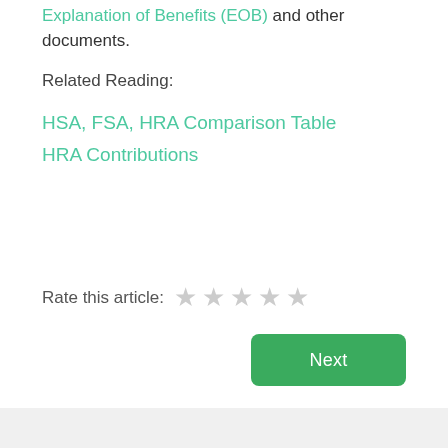documents.
Related Reading:
HSA, FSA, HRA Comparison Table
HRA Contributions
Rate this article:
Next